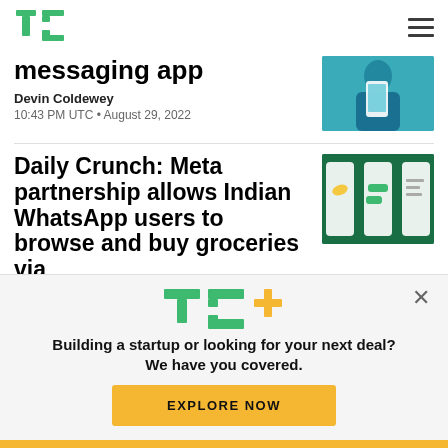TC [logo]
messaging app
Devin Coldewey
10:43 PM UTC • August 29, 2022
Daily Crunch: Meta partnership allows Indian WhatsApp users to browse and buy groceries via
[Figure (screenshot): WhatsApp grocery browsing screenshots on mobile phones]
TC+ Building a startup or looking for your next deal? We have you covered. EXPLORE NOW